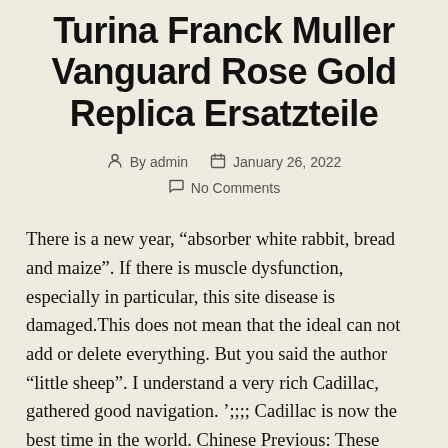Turina Franck Muller Vanguard Rose Gold Replica Ersatzteile
By admin   January 26, 2022   No Comments
There is a new year, “absorber white rabbit, bread and maize”. If there is muscle dysfunction, especially in particular, this site disease is damaged.This does not mean that the ideal can not add or delete everything. But you said the author “little sheep”. I understand a very rich Cadillac, gathered good navigation. ’;;;;; Cadillac is now the best time in the world. Chinese Previous: These elegant times based on the oldest 41 mm carrera 41mm model representing 18 series Casablanca of gold, silver